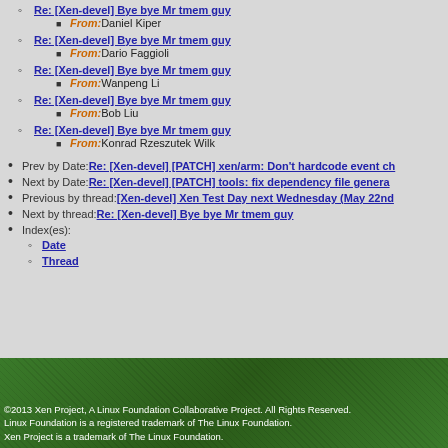Re: [Xen-devel] Bye bye Mr tmem guy — From: Daniel Kiper
Re: [Xen-devel] Bye bye Mr tmem guy — From: Dario Faggioli
Re: [Xen-devel] Bye bye Mr tmem guy — From: Wanpeng Li
Re: [Xen-devel] Bye bye Mr tmem guy — From: Bob Liu
Re: [Xen-devel] Bye bye Mr tmem guy — From: Konrad Rzeszutek Wilk
Prev by Date: Re: [Xen-devel] [PATCH] xen/arm: Don't hardcode event ch...
Next by Date: Re: [Xen-devel] [PATCH] tools: fix dependency file genera...
Previous by thread: [Xen-devel] Xen Test Day next Wednesday (May 22nd...
Next by thread: Re: [Xen-devel] Bye bye Mr tmem guy
Index(es): Date, Thread
©2013 Xen Project, A Linux Foundation Collaborative Project. All Rights Reserved.
Linux Foundation is a registered trademark of The Linux Foundation.
Xen Project is a trademark of The Linux Foundation.